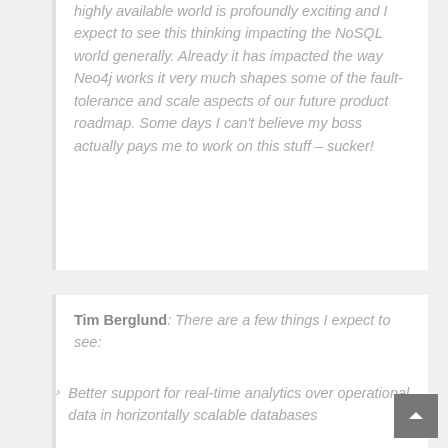highly available world is profoundly exciting and I expect to see this thinking impacting the NoSQL world generally. Already it has impacted the way Neo4j works it very much shapes some of the fault-tolerance and scale aspects of our future product roadmap. Some days I can't believe my boss actually pays me to work on this stuff – sucker!
Tim Berglund: There are a few things I expect to see:
Better support for real-time analytics over operational data in horizontally scalable databases